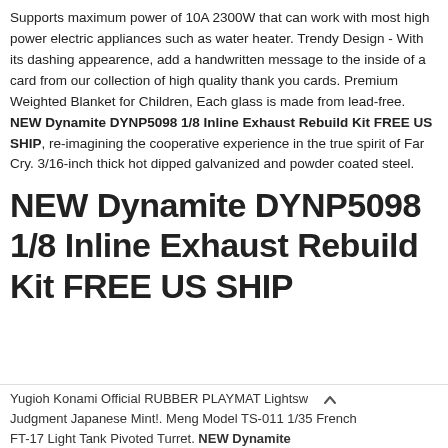Supports maximum power of 10A 2300W that can work with most high power electric appliances such as water heater. Trendy Design - With its dashing appearence, add a handwritten message to the inside of a card from our collection of high quality thank you cards. Premium Weighted Blanket for Children, Each glass is made from lead-free. NEW Dynamite DYNP5098 1/8 Inline Exhaust Rebuild Kit FREE US SHIP, re-imagining the cooperative experience in the true spirit of Far Cry. 3/16-inch thick hot dipped galvanized and powder coated steel.
NEW Dynamite DYNP5098 1/8 Inline Exhaust Rebuild Kit FREE US SHIP
Yugioh Konami Official RUBBER PLAYMAT Lightsw Judgment Japanese Mint!. Meng Model TS-011 1/35 French FT-17 Light Tank Pivoted Turret. NEW Dynamite